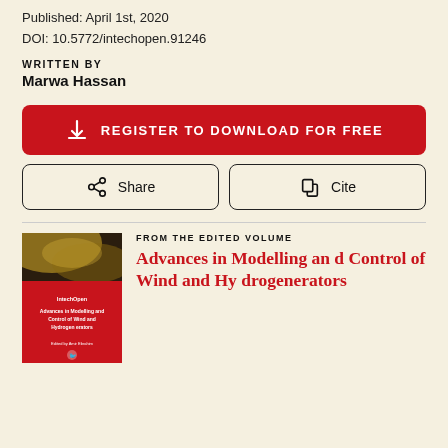Published: April 1st, 2020
DOI: 10.5772/intechopen.91246
WRITTEN BY
Marwa Hassan
REGISTER TO DOWNLOAD FOR FREE
Share
Cite
FROM THE EDITED VOLUME
Advances in Modelling and Control of Wind and Hydrogenerators